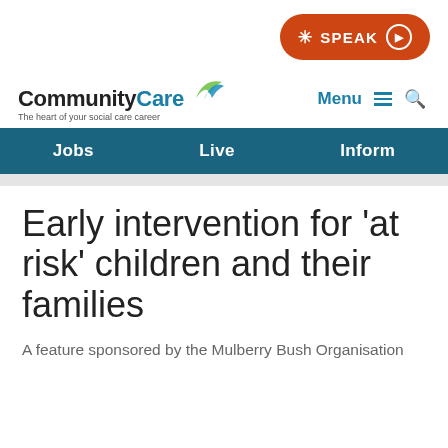[Figure (logo): CommunityCare logo with blue swoosh graphic and tagline 'The heart of your social care career']
[Figure (screenshot): Orange SPEAK button with accessibility icon and play circle]
Menu  🔍
Jobs   Live   Inform
Early intervention for 'at risk' children and their families
A feature sponsored by the Mulberry Bush Organisation